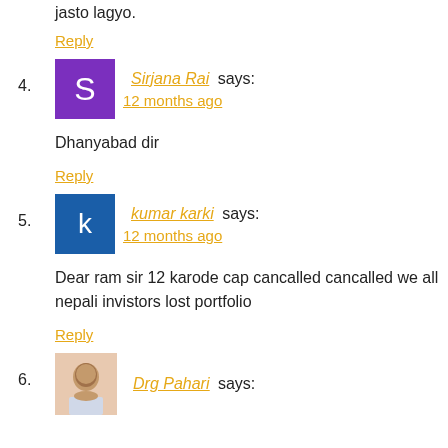jasto lagyo.
Reply
Sirjana Rai says:
12 months ago
Dhanyabad dir
Reply
kumar karki says:
12 months ago
Dear ram sir 12 karode cap cancalled cancalled we all nepali invistors lost portfolio
Reply
Drg Pahari says: